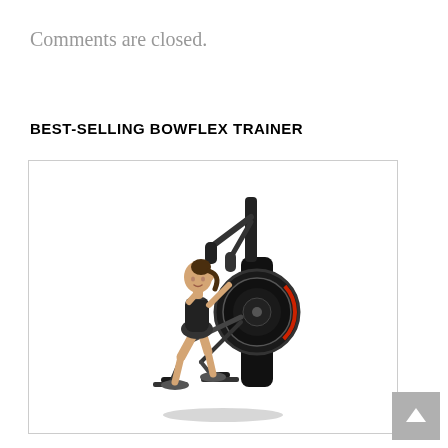Comments are closed.
BEST-SELLING BOWFLEX TRAINER
[Figure (photo): Woman using a Bowflex elliptical trainer machine. The woman is wearing athletic wear (black sports bra and shorts) and is mid-stride on the dark/black elliptical machine with red accents. The machine has moveable handlebar arms and a large flywheel visible on the right side.]